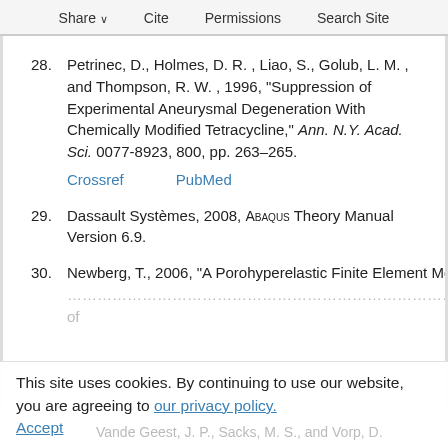Share  Cite  Permissions  Search Site
28. Petrinec, D., Holmes, D. R. , Liao, S., Golub, L. M. , and Thompson, R. W. , 1996, “Suppression of Experimental Aneurysmal Degeneration With Chemically Modified Tetracycline,” Ann. N.Y. Acad. Sci. 0077-8923, 800, pp. 263–265. Crossref  PubMed
29. Dassault Systèmes, 2008, ABAQUS Theory Manual Version 6.9.
30. Newberg, T., 2006, “A Porohyperelastic Finite Element Model of Arterial Transport...
This site uses cookies. By continuing to use our website, you are agreeing to our privacy policy. Accept